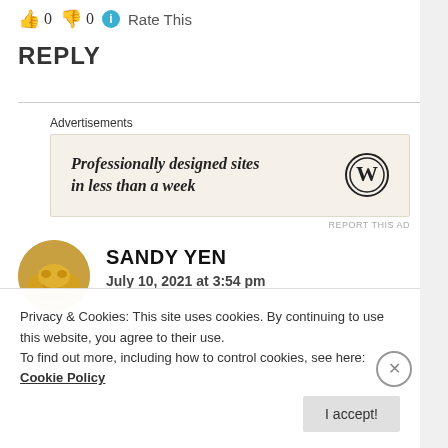👍 0 👎 0 ℹ Rate This
REPLY
[Figure (other): Advertisement banner: Professionally designed sites in less than a week, with WordPress logo]
SANDY YEN
July 10, 2021 at 3:54 pm
Privacy & Cookies: This site uses cookies. By continuing to use this website, you agree to their use.
To find out more, including how to control cookies, see here: Cookie Policy
I accept!